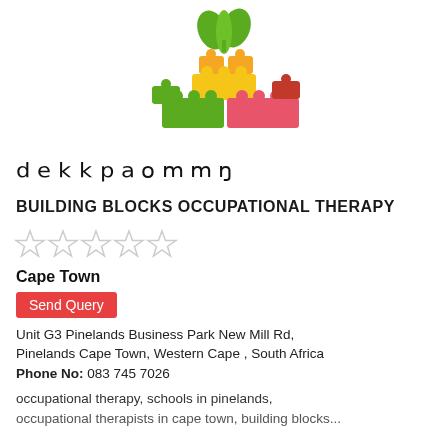[Figure (logo): Building Blocks Occupational Therapy logo: colorful stacked LEGO-style blocks (green, yellow/orange, pink/red) with green plant sprout on top]
BUILDING BLOCKS OCCUPATIONAL THERAPY
[Figure (other): Five empty/outline star rating icons]
Cape Town
Send Query
Unit G3 Pinelands Business Park New Mill Rd, Pinelands Cape Town, Western Cape , South Africa
Phone No: 083 745 7026
occupational therapy, schools in pinelands, occupational therapists in cape town, building blocks...